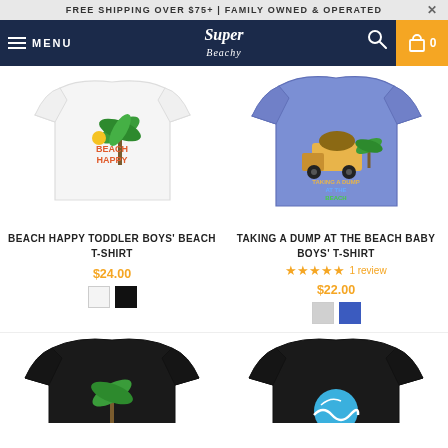FREE SHIPPING OVER $75+ | FAMILY OWNED & OPERATED
[Figure (screenshot): Navigation bar with hamburger menu, SuperBeachy logo, search icon, and cart button showing 0 items]
[Figure (photo): White toddler t-shirt with beach palm tree graphic and 'BEACH HAPPY' text]
[Figure (photo): Blue baby t-shirt with dump truck at beach graphic and 'TAKING A DUMP AT THE BEACH' text]
BEACH HAPPY TODDLER BOYS' BEACH T-SHIRT
$24.00
TAKING A DUMP AT THE BEACH BABY BOYS' T-SHIRT
1 review
$22.00
[Figure (photo): Black toddler t-shirt with palm tree graphic, partially visible]
[Figure (photo): Black baby t-shirt with wave/ocean graphic, partially visible]